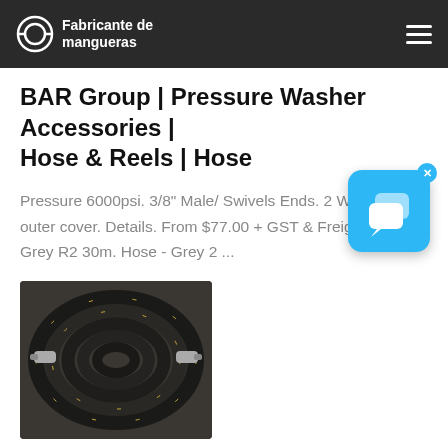Fabricante de mangueras
BAR Group | Pressure Washer Accessories | Hose & Reels | Hose
Pressure 6000psi. 3/8" Male/ Swivels Ends. 2 Wire Grey outer cover. Details. From $77.00 + GST & Freight Grey R2 30m. Hose - Grey 2 ...
[Figure (photo): Coiled black industrial hose with metallic fittings]
Sewer Jetting Hoses Drain Pipe Cleaning for Pressure Wash...